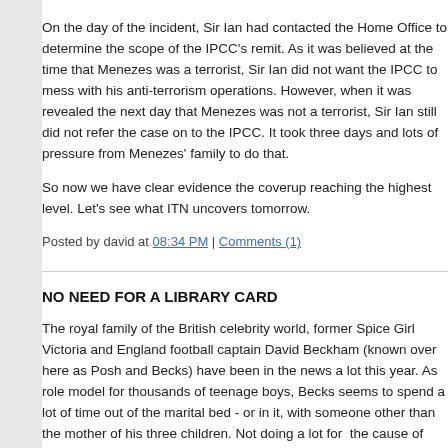On the day of the incident, Sir Ian had contacted the Home Office to determine the scope of the IPCC's remit. As it was believed at the time that Menezes was a terrorist, Sir Ian did not want the IPCC to mess with his anti-terrorism operations. However, when it was revealed the next day that Menezes was not a terrorist, Sir Ian still did not refer the case on to the IPCC. It took three days and lots of pressure from Menezes' family to do that.
So now we have clear evidence the coverup reaching the highest level. Let's see what ITN uncovers tomorrow.
Posted by david at 08:34 PM | Comments (1)
NO NEED FOR A LIBRARY CARD
The royal family of the British celebrity world, former Spice Girl Victoria and England football captain David Beckham (known over here as Posh and Becks) have been in the news a lot this year. As role model for thousands of teenage boys, Becks seems to spend a lot of time out of the marital bed - or in it, with someone other than the mother of his three children. Not doing a lot for the cause of monogamy.
But it is Posh who is in the news now. Despite the fact that she recently "authored" a 528-page biography, she has told a Spanish magazine that